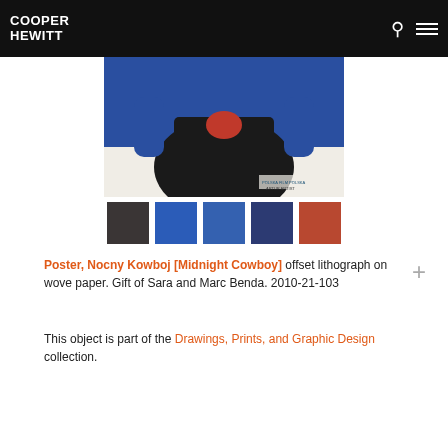COOPER HEWITT
[Figure (photo): Partial view of a poster showing a figure in a black shirt with red element and blue background, with small text at bottom right.]
[Figure (infographic): Five color swatches: dark charcoal, bright blue, medium blue, dark navy, terracotta/rust red.]
Poster, Nocny Kowboj [Midnight Cowboy] offset lithograph on wove paper. Gift of Sara and Marc Benda. 2010-21-103
This object is part of the Drawings, Prints, and Graphic Design collection.